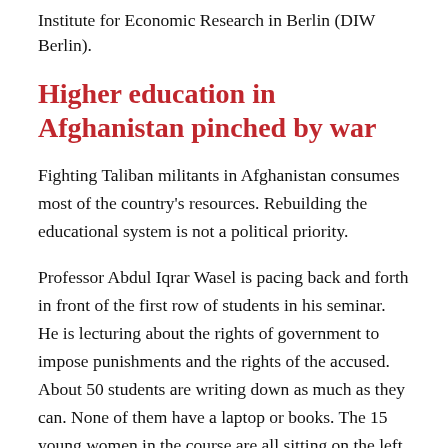Institute for Economic Research in Berlin (DIW Berlin).
Higher education in Afghanistan pinched by war
Fighting Taliban militants in Afghanistan consumes most of the country’s resources. Rebuilding the educational system is not a political priority.
Professor Abdul Iqrar Wasel is pacing back and forth in front of the first row of students in his seminar. He is lecturing about the rights of government to impose punishments and the rights of the accused. About 50 students are writing down as much as they can. None of them have a laptop or books. The 15 young women in the course are all sitting on the left at the front of the